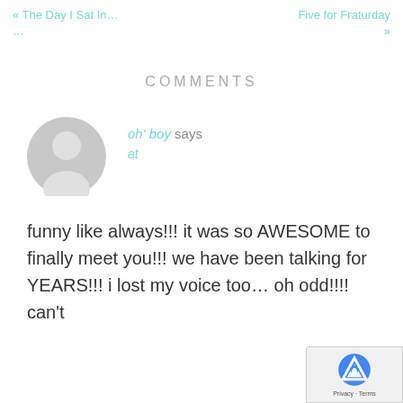« The Day I Sat In…
Five for Fraturday »
COMMENTS
[Figure (illustration): Generic grey avatar/profile placeholder icon showing a silhouette of a person]
oh' boy says
at
funny like always!!! it was so AWESOME to finally meet you!!! we have been talking for YEARS!!! i lost my voice too… oh odd!!!! can't